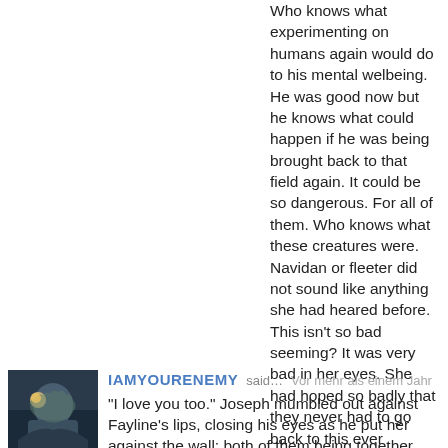Who knows what experimenting on humans again would do to his mental welbeing. He was good now but he knows what could happen if he was being brought back to that field again. It could be so dangerous. For all of them. Who knows what these creatures were. Navidan or fleeter did not sound like anything she had heared before. This isn't so bad seeming? It was very bad in her eyes. She had hoped so badly that they never had to go back to this ever again.... "We'll need some time to pack or stuff. Tell Ichirou.... So I suggest you leave for now." She says towards Yang, obvious that she did not liked this one bit before turning around and walking up towards their room.
[Figure (photo): Avatar image of user IAMYOURENEMY showing a fantasy warrior character]
IAMYOURENEMY said… Vor mehr als einem Jahr
"I love you too." Joseph mumbled out against Fayline's lips, closing his eyes as he put her against the wall; both of them being together under the warm water pouring down on them from the shower head, his hand intertwined with hers all